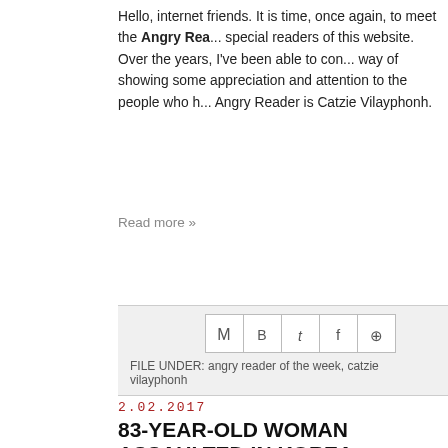Hello, internet friends. It is time, once again, to meet the Angry Rea... special readers of this website. Over the years, I've been able to con... way of showing some appreciation and attention to the people who h... Angry Reader is Catzie Vilayphonh.
Read more »
[Figure (other): Social sharing icons: Gmail, Blogger, Twitter, Facebook, Pinterest]
FILE UNDER: angry reader of the week, catzie vilayphonh
2.02.2017
83-YEAR-OLD WOMAN ASSAULTED IN KOREA...
Police say the attack is not being investigated as a hate crime.
[Figure (photo): Photo showing legs of a person being treated medically, with blue gloved hands holding white bandages]